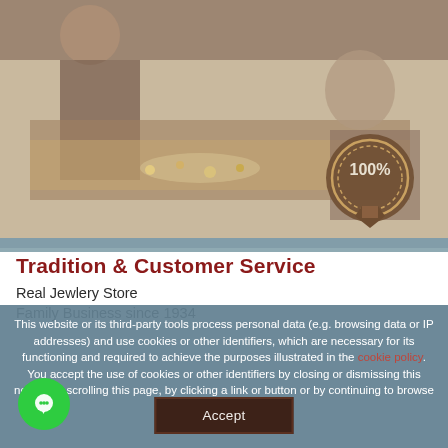[Figure (photo): Sepia-toned photo of people at a jewelry store counter with a '100%' badge/seal overlay in the bottom right corner]
Tradition & Customer Service
Real Jewlery Store
Family Business since 1934
This website or its third-party tools process personal data (e.g. browsing data or IP addresses) and use cookies or other identifiers, which are necessary for its functioning and required to achieve the purposes illustrated in the cookie policy.
You accept the use of cookies or other identifiers by closing or dismissing this notice, by scrolling this page, by clicking a link or button or by continuing to browse otherwise.